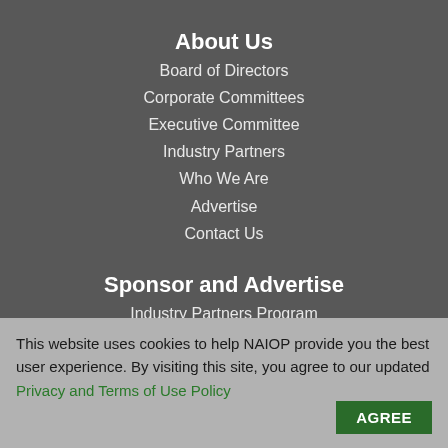About Us
Board of Directors
Corporate Committees
Executive Committee
Industry Partners
Who We Are
Advertise
Contact Us
Sponsor and Advertise
Industry Partners Program
NAIOP Member Demographics
Digital Advertising Opportunities
Event Sponsorship Opportunities
This website uses cookies to help NAIOP provide you the best user experience. By visiting this site, you agree to our updated Privacy and Terms of Use Policy